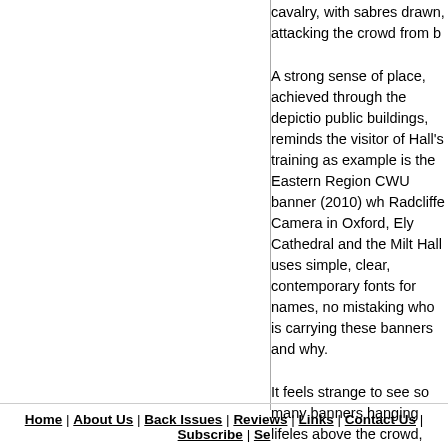cavalry, with sabres drawn, attacking the crowd from b...
A strong sense of place, achieved through the depictio... public buildings, reminds the visitor of Hall's training as... example is the Eastern Region CWU banner (2010) wh... Radcliffe Camera in Oxford, Ely Cathedral and the Milt... Hall uses simple, clear, contemporary fonts for names,... no mistaking who is carrying these banners and why.
It feels strange to see so many banners hanging lifeles... above the crowd, and the museum recognises this by i... photo of each banner in action, 'on the march'. Several... ceiling in the engine hall so that the visitor has to look u... being drawn into the main part of the exhibition and its... advantage of this display is that closer examination ena... the extraordinary pictorial and graphic skills deployed.... movement at its best: proud of its fighting traditions, u... seeking to change society.
The exhibition is sponsored by the RMT, for whose bra... made over 60 banners. The RMT has made a 15-minu... relationship with the union and his banner-making meth... RMT delegation on March 26 and can be viewed at the...
The exhibition will still be running on the day of the den... Manchester against the Tory party conference. If you h... that or any other day, don’t miss it.
Home | About Us | Back Issues | Reviews | Links | Contact Us | Subscribe | Se...